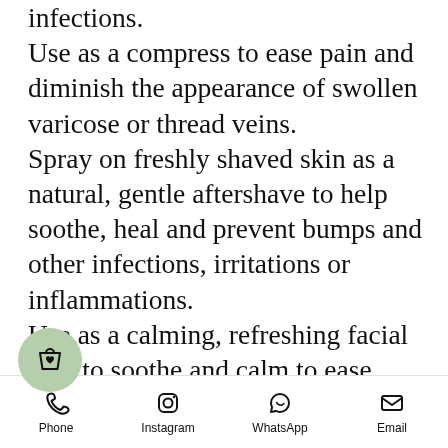infections. Use as a compress to ease pain and diminish the appearance of swollen varicose or thread veins. Spray on freshly shaved skin as a natural, gentle aftershave to help soothe, heal and prevent bumps and other infections, irritations or inflammations. Use as a calming, refreshing facial mist to soothe and calm to ease anger, frustration, anxiety, depression etc. or on bed linen before sleep to induce sleep. Spray on burns, blisters, minor cuts or wounds, athlete's foot and
Phone | Instagram | WhatsApp | Email